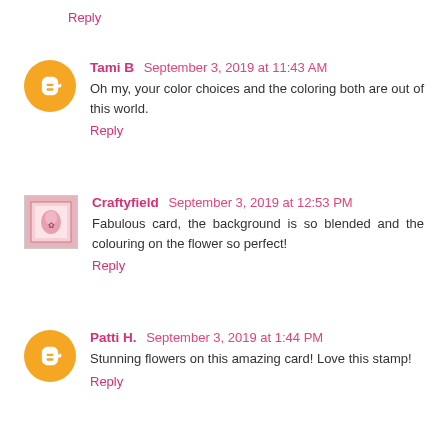Reply
Tami B  September 3, 2019 at 11:43 AM
Oh my, your color choices and the coloring both are out of this world.
Reply
Craftyfield  September 3, 2019 at 12:53 PM
Fabulous card, the background is so blended and the colouring on the flower so perfect!
Reply
Patti H.  September 3, 2019 at 1:44 PM
Stunning flowers on this amazing card! Love this stamp!
Reply